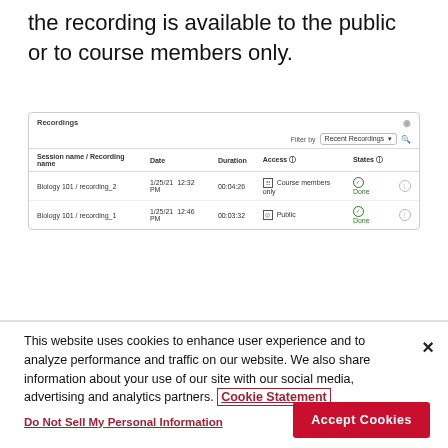the recording is available to the public or to course members only.
[Figure (screenshot): Recordings panel showing a table with two rows: Biology 101 / recording_2 (1/25/21 12:32 PM, 00:04:26, Course members only, Done) and Biology 101 / recording_1 (1/25/21 12:46 PM, 00:03:32, Public, Done). Filter by Recent Recordings dropdown at top right.]
This website uses cookies to enhance user experience and to analyze performance and traffic on our website. We also share information about your use of our site with our social media, advertising and analytics partners. Cookie Statement
Do Not Sell My Personal Information
Accept Cookies